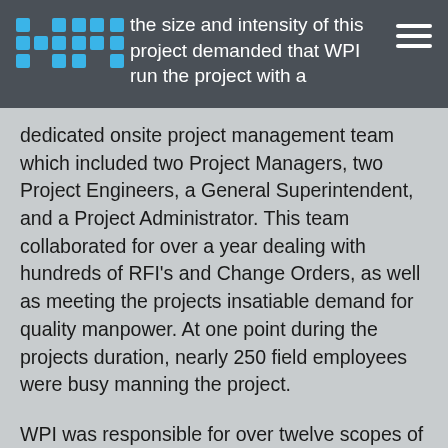[Figure (logo): WPI logo in blue block letters]
the size and intensity of this project demanded that WPI run the project with a
dedicated onsite project management team which included two Project Managers, two Project Engineers, a General Superintendent, and a Project Administrator. This team collaborated for over a year dealing with hundreds of RFI's and Change Orders, as well as meeting the projects insatiable demand for quality manpower. At one point during the projects duration, nearly 250 field employees were busy manning the project.
WPI was responsible for over twelve scopes of work on this project across all three buildings. Block 92